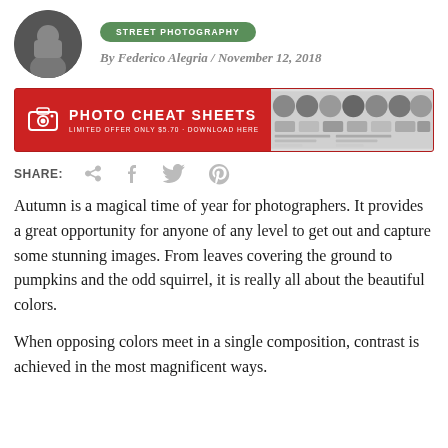[Figure (photo): Circular author photo of a man (Federico Alegria) in black and white]
STREET PHOTOGRAPHY
By Federico Alegria / November 12, 2018
[Figure (infographic): Red banner advertisement for Photo Cheat Sheets. Text reads: PHOTO CHEAT SHEETS LIMITED OFFER ONLY $5.70 · DOWNLOAD HERE. Right side shows grid thumbnails of photography examples.]
SHARE:
Autumn is a magical time of year for photographers. It provides a great opportunity for anyone of any level to get out and capture some stunning images. From leaves covering the ground to pumpkins and the odd squirrel, it is really all about the beautiful colors.
When opposing colors meet in a single composition, contrast is achieved in the most magnificent ways.